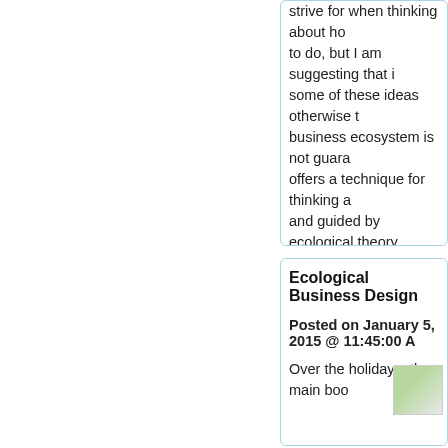strive for when thinking about ho to do, but I am suggesting that i some of these ideas otherwise t business ecosystem is not guara offers a technique for thinking a and guided by ecological theory
Note: An entity called "Ooze" ap several different types of ooze. somewhat counterintuitive. Ooz
Permalink
Ecological Business Design
Posted on January 5, 2015 @ 11:45:00 A
Over the holidays, the main boo
[Figure (photo): Small image placeholder in the bottom card]